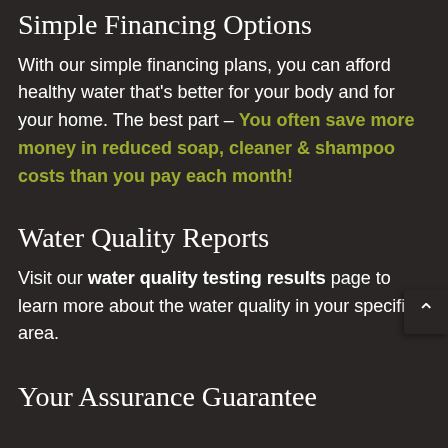Simple Financing Options
With our simple financing plans, you can afford healthy water that’s better for your body and for your home. The best part – You often save more money in reduced soap, cleaner & shampoo costs than you pay each month!
Water Quality Reports
Visit our water quality testing results page to learn more about the water quality in your specific area.
Your Assurance Guarantee